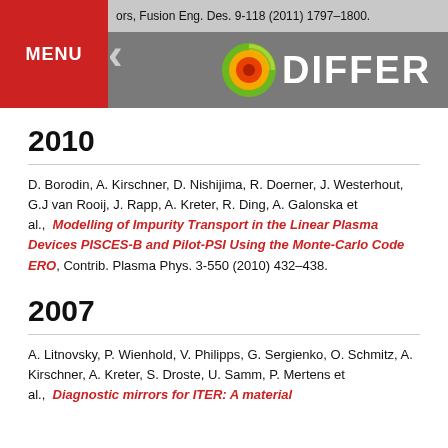ors, Fusion Eng. Des. 9-118 (2011) 1797-1800.
2010
D. Borodin, A. Kirschner, D. Nishijima, R. Doerner, J. Westerhout, G.J van Rooij, J. Rapp, A. Kreter, R. Ding, A. Galonska et al.,  Modelling of Impurity Transport in the Linear Plasma Devices PISCES-B and Pilot-PSI Using the Monte-Carlo Code ERO, Contrib. Plasma Phys. 3-550 (2010) 432-438.
2007
A. Litnovsky, P. Wienhold, V. Philipps, G. Sergienko, O. Schmitz, A. Kirschner, A. Kreter, S. Droste, U. Samm, P. Mertens et al.,  Diagnostic mirrors for ITER: A material